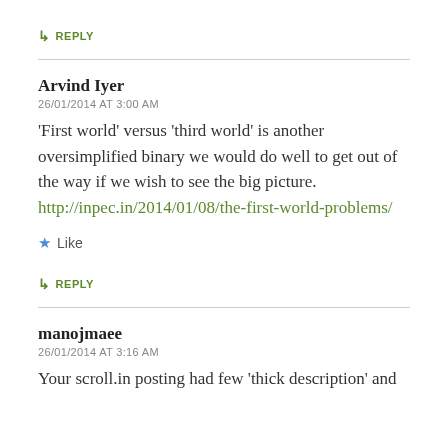↳ REPLY
Arvind Iyer
26/01/2014 AT 3:00 AM
'First world' versus 'third world' is another oversimplified binary we would do well to get out of the way if we wish to see the big picture. http://inpec.in/2014/01/08/the-first-world-problems/
★ Like
↳ REPLY
manojmaee
26/01/2014 AT 3:16 AM
Your scroll.in posting had few 'thick description' and